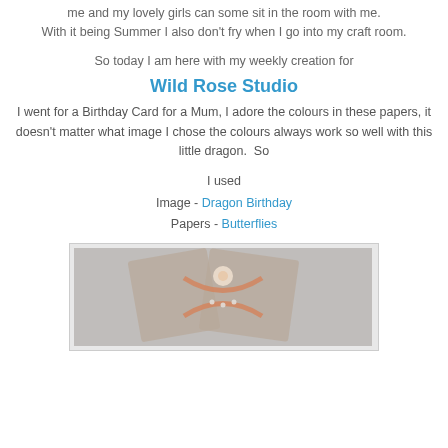me and my lovely girls can some sit in the room with me. With it being Summer I also don't fry when I go into my craft room.
So today I am here with my weekly creation for
Wild Rose Studio
I went for a Birthday Card for a Mum, I adore the colours in these papers, it doesn't matter what image I chose the colours always work so well with this little dragon.  So
I used
Image - Dragon Birthday
Papers - Butterflies
[Figure (photo): Photo of a handmade birthday card featuring a dragon image with butterfly patterned papers, orange ribbon and flower embellishment, held open to display the inside.]